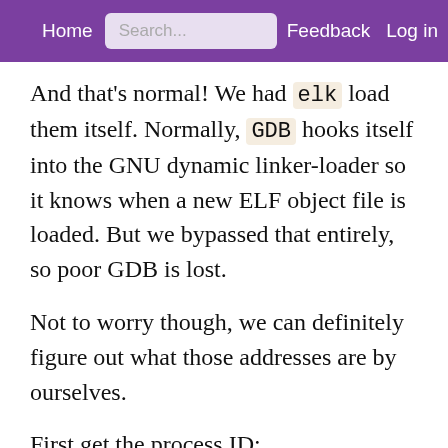Home  Search...  Feedback  Log in
And that's normal! We had elk load them itself. Normally, GDB hooks itself into the GNU dynamic linker-loader so it knows when a new ELF object file is loaded. But we bypassed that entirely, so poor GDB is lost.
Not to worry though, we can definitely figure out what those addresses are by ourselves.
First get the process ID:
Shell session